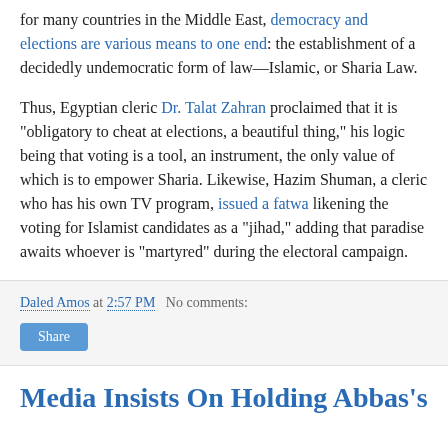for many countries in the Middle East, democracy and elections are various means to one end: the establishment of a decidedly undemocratic form of law—Islamic, or Sharia Law.
Thus, Egyptian cleric Dr. Talat Zahran proclaimed that it is "obligatory to cheat at elections, a beautiful thing," his logic being that voting is a tool, an instrument, the only value of which is to empower Sharia. Likewise, Hazim Shuman, a cleric who has his own TV program, issued a fatwa likening the voting for Islamist candidates as a "jihad," adding that paradise awaits whoever is "martyred" during the electoral campaign.
Daled Amos at 2:57 PM   No comments:
Share
Media Insists On Holding Abbas's